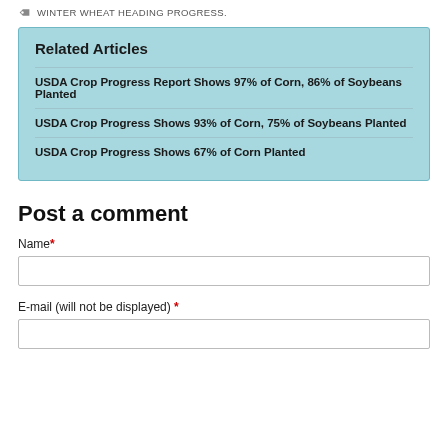WINTER WHEAT HEADING PROGRESS.
Related Articles
USDA Crop Progress Report Shows 97% of Corn, 86% of Soybeans Planted
USDA Crop Progress Shows 93% of Corn, 75% of Soybeans Planted
USDA Crop Progress Shows 67% of Corn Planted
Post a comment
Name*
E-mail (will not be displayed) *